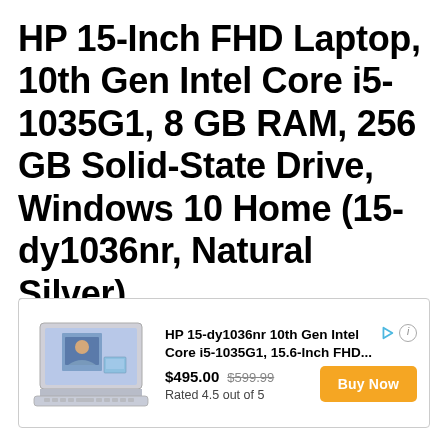HP 15-Inch FHD Laptop, 10th Gen Intel Core i5-1035G1, 8 GB RAM, 256 GB Solid-State Drive, Windows 10 Home (15-dy1036nr, Natural Silver)
[Figure (other): Advertisement card showing HP laptop product with image, title, price, rating, and Buy Now button]